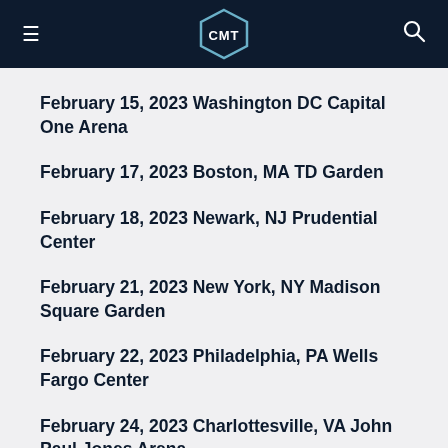CMT
February 15, 2023 Washington DC Capital One Arena
February 17, 2023 Boston, MA TD Garden
February 18, 2023 Newark, NJ Prudential Center
February 21, 2023 New York, NY Madison Square Garden
February 22, 2023 Philadelphia, PA Wells Fargo Center
February 24, 2023 Charlottesville, VA John Paul Jones Arena